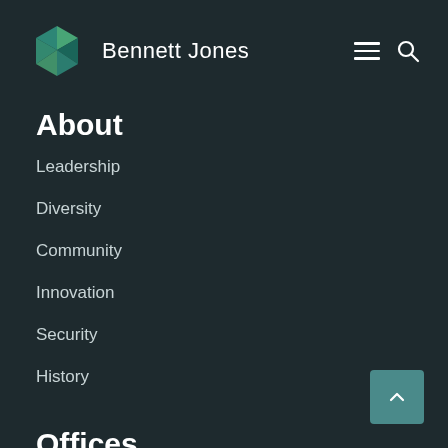Bennett Jones
About
Leadership
Diversity
Community
Innovation
Security
History
Offices
Calgary
Edmonton